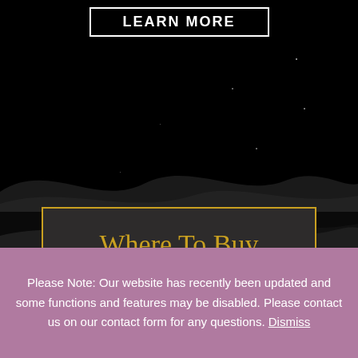[Figure (screenshot): LEARN MORE button with white border on black background]
[Figure (screenshot): Dark wavy background section with star dots]
Where To Buy
[Figure (screenshot): Scroll to top arrow button]
Please Note: Our website has recently been updated and some functions and features may be disabled. Please contact us on our contact form for any questions. Dismiss